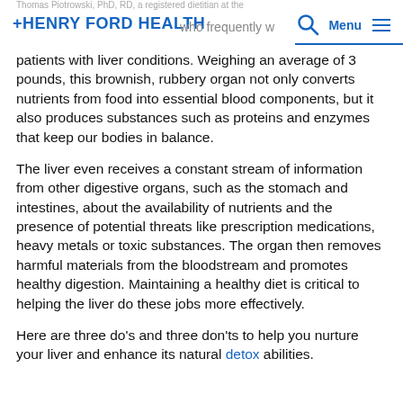Thomas Piotrowski, PhD, RD, a registered dietitian at the Henry Ford Health who frequently works with patients with liver conditions.
patients with liver conditions. Weighing an average of 3 pounds, this brownish, rubbery organ not only converts nutrients from food into essential blood components, but it also produces substances such as proteins and enzymes that keep our bodies in balance.
The liver even receives a constant stream of information from other digestive organs, such as the stomach and intestines, about the availability of nutrients and the presence of potential threats like prescription medications, heavy metals or toxic substances. The organ then removes harmful materials from the bloodstream and promotes healthy digestion. Maintaining a healthy diet is critical to helping the liver do these jobs more effectively.
Here are three do’s and three don’ts to help you nurture your liver and enhance its natural detox abilities.